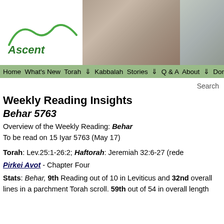[Figure (photo): Ascent website header banner with logo on left and group photos of young people on right]
Home What's New Torah ⇓ Kabbalah Stories ⇓ Q & A About ⇓ Don...
Search
Weekly Reading Insights
Behar 5763
Overview of the Weekly Reading: Behar
To be read on 15 Iyar 5763 (May 17)
Torah: Lev.25:1-26:2; Haftorah: Jeremiah 32:6-27 (rede...
Pirkei Avot - Chapter Four
Stats: Behar, 9th Reading out of 10 in Leviticus and 32nd overall lines in a parchment Torah scroll. 59th out of 54 in overall length...